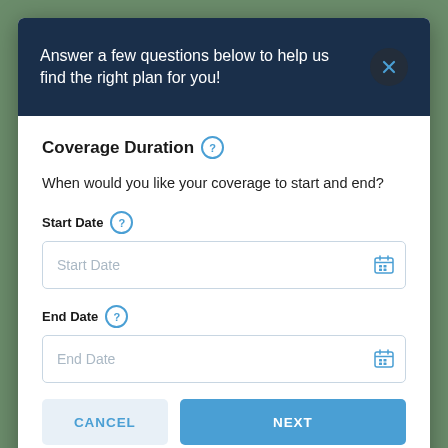Answer a few questions below to help us find the right plan for you!
Coverage Duration
When would you like your coverage to start and end?
Start Date
Start Date
End Date
End Date
CANCEL
NEXT
Coverage Area